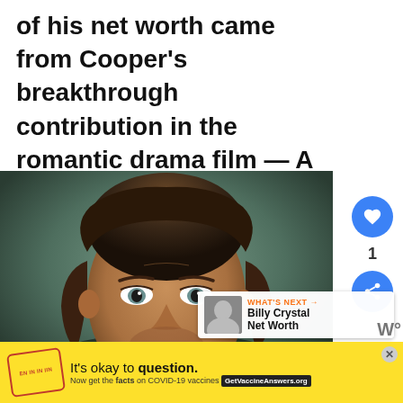of his net worth came from Cooper's breakthrough contribution in the romantic drama film — A Star Is Born.
[Figure (photo): Portrait photo of Bradley Cooper, a man with medium-length brown hair, light eyes, and facial stubble, against a muted green-grey background.]
[Figure (screenshot): What's Next callout box showing Billy Crystal Net Worth with a small portrait thumbnail.]
[Figure (infographic): Advertisement banner with yellow background: It's okay to question. Now get the facts on COVID-19 vaccines. GetVaccineAnswers.org]